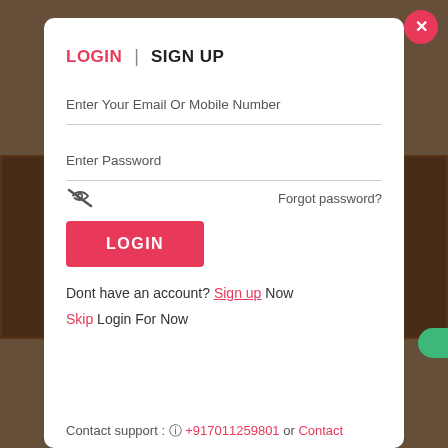[Figure (screenshot): Mobile app login modal dialog overlay on a dark background. Modal contains LOGIN and SIGN UP tabs, email/mobile number input field, password input field with eye-slash icon, forgot password link, pink LOGIN button, sign up prompt, skip login option, and contact support line.]
LOGIN | SIGN UP
Enter Your Email Or Mobile Number
Enter Password
Forgot password?
LOGIN
Dont have an account? Sign up Now
Skip Login For Now
Contact support : +917011259801 or Contact